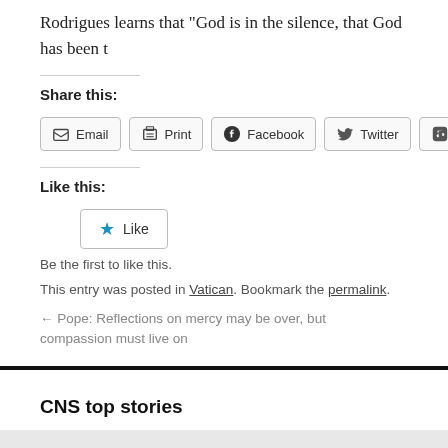Rodrigues learns that “God is in the silence, that God has been t
Share this:
[Figure (screenshot): Social sharing buttons: Email, Print, Facebook, Twitter, Tumblr]
Like this:
[Figure (screenshot): Like button with star icon]
Be the first to like this.
This entry was posted in Vatican. Bookmark the permalink.
← Pope: Reflections on mercy may be over, but compassion must live on
CNS top stories